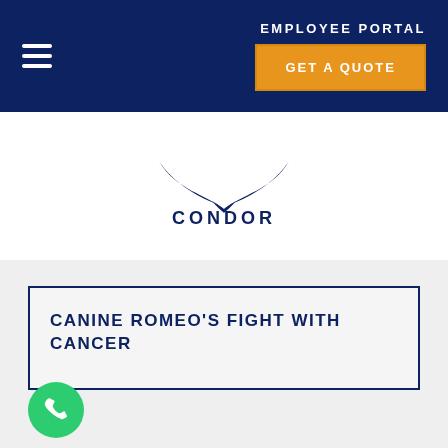EMPLOYEE PORTAL
[Figure (logo): Condor Security logo with stylized bird/whale tail shape above the text CONDOR SECURITY]
CANINE ROMEO'S FIGHT WITH CANCER